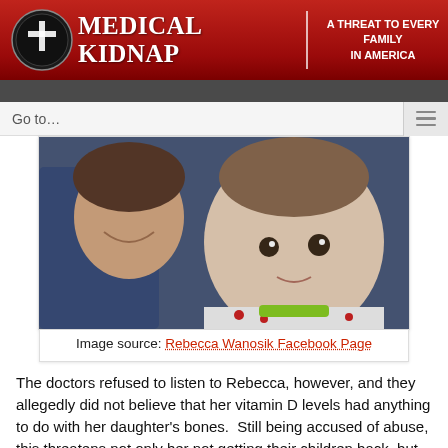MEDICAL KIDNAP | A THREAT TO EVERY FAMILY IN AMERICA
[Figure (photo): Photo of a woman and a baby/toddler close together, the child wearing a strawberry-patterned outfit with a green collar]
Image source: Rebecca Wanosik Facebook Page
The doctors refused to listen to Rebecca, however, and they allegedly did not believe that her vitamin D levels had anything to do with her daughter's bones.  Still being accused of abuse, this threatens not only her not getting their children back, but her husband's job working in the